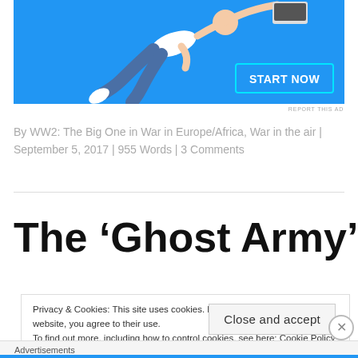[Figure (photo): Advertisement banner with blue background showing a person diving/flying horizontally and a 'START NOW' button with cyan border]
REPORT THIS AD
By WW2: The Big One in War in Europe/Africa, War in the air | September 5, 2017 | 955 Words | 3 Comments
The ‘Ghost Army’ in
Privacy & Cookies: This site uses cookies. By continuing to use this website, you agree to their use.
To find out more, including how to control cookies, see here: Cookie Policy
Close and accept
Advertisements